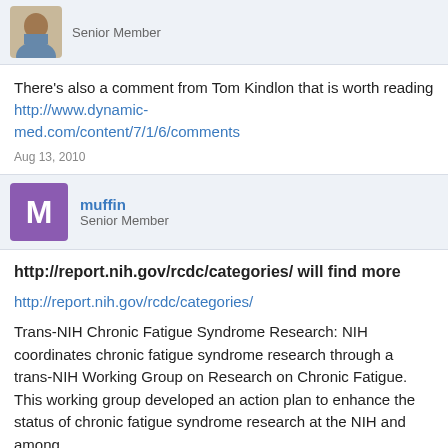[Figure (photo): Cropped photo of a person (avatar image) with Senior Member label]
There's also a comment from Tom Kindlon that is worth reading http://www.dynamic-med.com/content/7/1/6/comments
Aug 13, 2010
[Figure (illustration): Purple square avatar with letter M and username muffin, Senior Member]
http://report.nih.gov/rcdc/categories/ will find more
http://report.nih.gov/rcdc/categories/
Trans-NIH Chronic Fatigue Syndrome Research: NIH coordinates chronic fatigue syndrome research through a trans-NIH Working Group on Research on Chronic Fatigue. This working group developed an action plan to enhance the status of chronic fatigue syndrome research at the NIH and among